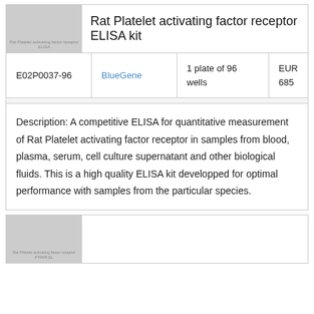[Figure (photo): Product image thumbnail for Rat Platelet activating factor receptor ELISA kit with text overlay]
Rat Platelet activating factor receptor ELISA kit
|  |  |  |  |
| --- | --- | --- | --- |
| E02P0037-96 | BlueGene | 1 plate of 96 wells | EUR 685 |
Description: A competitive ELISA for quantitative measurement of Rat Platelet activating factor receptor in samples from blood, plasma, serum, cell culture supernatant and other biological fluids. This is a high quality ELISA kit developped for optimal performance with samples from the particular species.
[Figure (photo): Product image thumbnail for second ELISA kit product with text overlay (partially visible)]